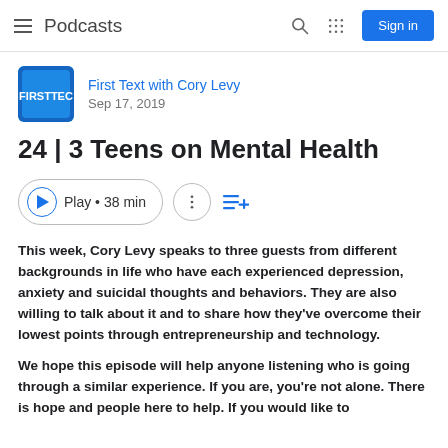Podcasts
[Figure (screenshot): Podcast thumbnail for First Text with Cory Levy — blue square logo]
First Text with Cory Levy
Sep 17, 2019
24 | 3 Teens on Mental Health
Play • 38 min
This week, Cory Levy speaks to three guests from different backgrounds in life who have each experienced depression, anxiety and suicidal thoughts and behaviors. They are also willing to talk about it and to share how they've overcome their lowest points through entrepreneurship and technology.
We hope this episode will help anyone listening who is going through a similar experience. If you are, you're not alone. There is hope and people here to help. If you would like to